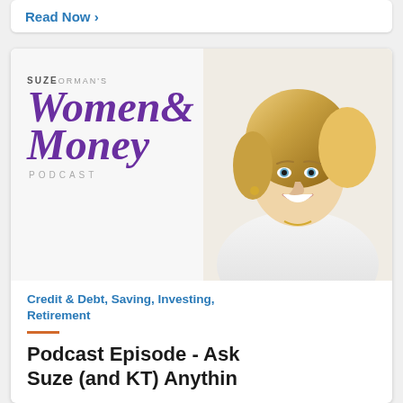Read Now >
[Figure (photo): Suze Orman's Women & Money Podcast logo with photo of Suze Orman (blonde woman in white jacket smiling)]
Credit & Debt, Saving, Investing, Retirement
Podcast Episode - Ask Suze (and KT) Anything